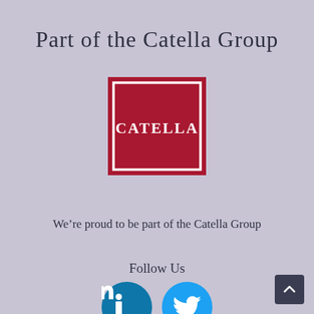Part of the Catella Group
[Figure (logo): Catella logo: red square with white border and white text 'CATELLA' in the center]
We're proud to be part of the Catella Group
Follow Us
[Figure (infographic): LinkedIn and Twitter social media icon buttons]